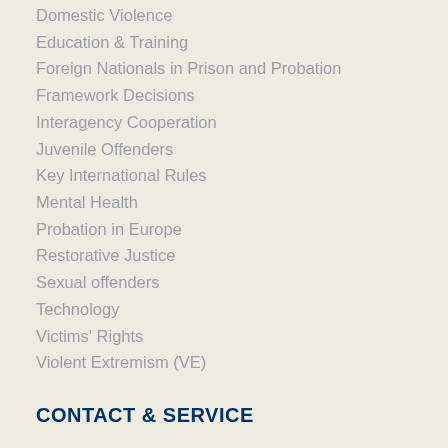Domestic Violence
Education & Training
Foreign Nationals in Prison and Probation
Framework Decisions
Interagency Cooperation
Juvenile Offenders
Key International Rules
Mental Health
Probation in Europe
Restorative Justice
Sexual offenders
Technology
Victims' Rights
Violent Extremism (VE)
CONTACT & SERVICE
Contact
Frequently asked questions